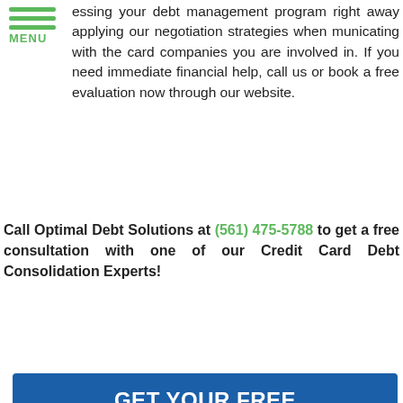MENU
essing your debt management program right away applying our negotiation strategies when municating with the card companies you are involved in. If you need immediate financial help, call us or book a free evaluation now through our website.
Call Optimal Debt Solutions at (561) 475-5788 to get a free consultation with one of our Credit Card Debt Consolidation Experts!
[Figure (infographic): Blue consultation form box with title GET YOUR FREE CONSULTATION and input fields for Full Name, Best Phone, Email Address, How Can We Help You With Your Debt, along with phone and email icon buttons]
GET YOUR FREE CONSULTATION